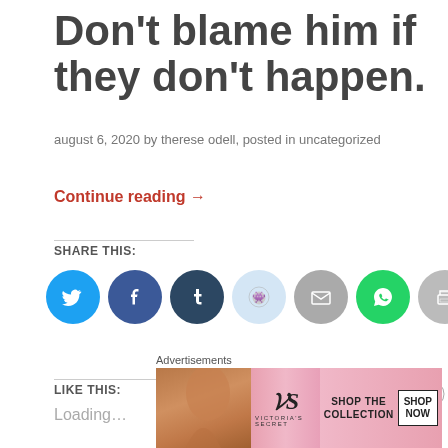Don't blame him if they don't happen.
august 6, 2020 by therese odell, posted in uncategorized
Continue reading →
SHARE THIS:
[Figure (other): Row of social share icon buttons: Twitter (blue), Facebook (blue), Tumblr (dark navy), Reddit (light blue), Email (grey), WhatsApp (green), Print (grey)]
LIKE THIS:
Loading…
Advertisements
[Figure (illustration): Victoria's Secret advertisement banner showing a woman with curly hair, VS logo, text SHOP THE COLLECTION, and a SHOP NOW button]